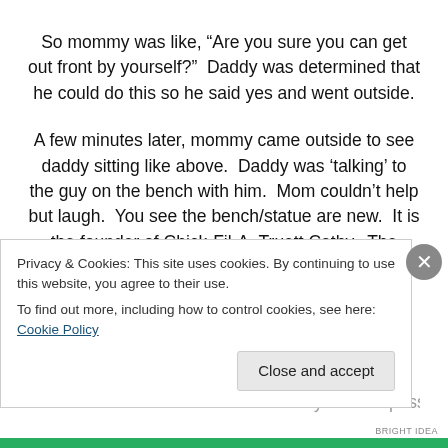So mommy was like, “Are you sure you can get out front by yourself?”  Daddy was determined that he could do this so he said yes and went outside.
A few minutes later, mommy came outside to see daddy sitting like above.  Daddy was ‘talking’ to the guy on the bench with him.  Mom couldn’t help but laugh.  You see the bench/statue are new.  It is the founder of Chick-Fil-A, Truett Cathy.  The restaurant has recently put this in front of the restaurant in honor of Mr. Cathy who he passed
Privacy & Cookies: This site uses cookies. By continuing to use this website, you agree to their use.
To find out more, including how to control cookies, see here: Cookie Policy